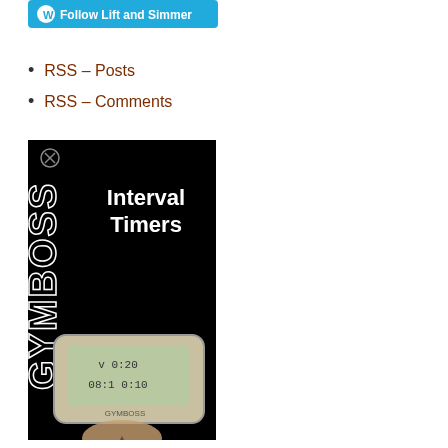[Figure (other): Follow Lift and Simmer WordPress follow button in teal/cyan color]
RSS – Posts
RSS – Comments
[Figure (advertisement): Gymboss Interval Timers advertisement banner with black background showing GYMBOSS logo text vertically and a digital interval timer device displaying 0:20 and 0:10 with a person at the bottom]